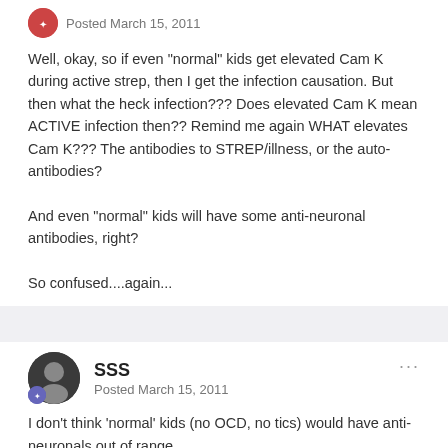Posted March 15, 2011
Well, okay, so if even "normal" kids get elevated Cam K during active strep, then I get the infection causation. But then what the heck infection??? Does elevated Cam K mean ACTIVE infection then?? Remind me again WHAT elevates Cam K??? The antibodies to STREP/illness, or the auto-antibodies?
And even "normal" kids will have some anti-neuronal antibodies, right?
So confused....again...
SSS
Posted March 15, 2011
I don't think 'normal' kids (no OCD, no tics) would have anti-neuronals out of range.